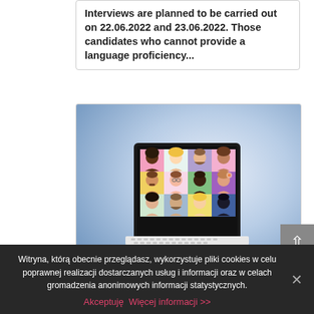Interviews are planned to be carried out on 22.06.2022 and 23.06.2022. Those candidates who cannot provide a language proficiency...
[Figure (illustration): Illustration of a laptop displaying a video conference grid with 12 diverse cartoon avatars in colorful tiled panels, set against a blue gradient background]
Witryna, którą obecnie przeglądasz, wykorzystuje pliki cookies w celu poprawnej realizacji dostarczanych usług i informacji oraz w celach gromadzenia anonimowych informacji statystycznych.
Akceptuję  Więcej informacji >>